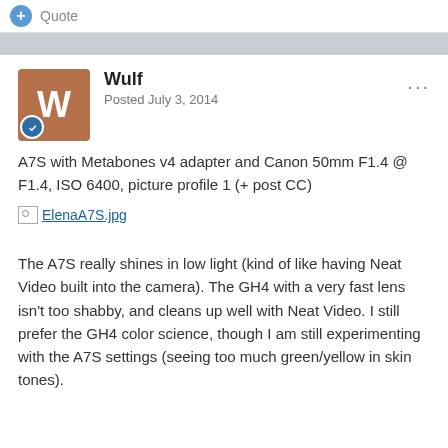Quote
Wulf
Posted July 3, 2014
A7S with Metabones v4 adapter and Canon 50mm F1.4 @ F1.4, ISO 6400, picture profile 1 (+ post CC)
[Figure (other): Broken image link to ElenaA7S.jpg]
The A7S really shines in low light (kind of like having Neat Video built into the camera). The GH4 with a very fast lens isn't too shabby, and cleans up well with Neat Video. I still prefer the GH4 color science, though I am still experimenting with the A7S settings (seeing too much green/yellow in skin tones).